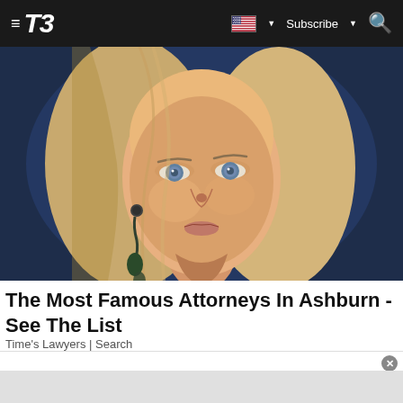≡ T3  [US flag] ▼  Subscribe ▼  🔍
[Figure (photo): Close-up portrait of a blonde woman with blue eyes and dangling earrings against a dark blue background]
The Most Famous Attorneys In Ashburn - See The List
Time's Lawyers | Search